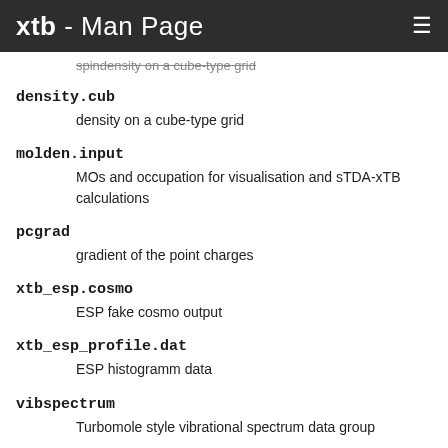xtb - Man Page
spindensity on a cube-type grid
density.cub
    density on a cube-type grid
molden.input
    MOs and occupation for visualisation and sTDA-xTB calculations
pcgrad
    gradient of the point charges
xtb_esp.cosmo
    ESP fake cosmo output
xtb_esp_profile.dat
    ESP histogramm data
vibspectrum
    Turbomole style vibrational spectrum data group
q98.out, q98l.out, q98 canmode.out,